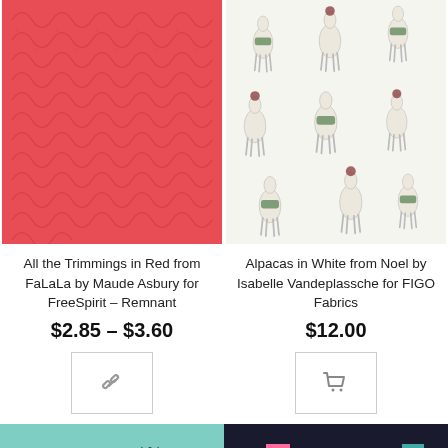[Figure (photo): Red fabric with swirling/looping dark pattern, All the Trimmings in Red from FaLaLa by Maude Asbury for FreeSpirit – Remnant]
All the Trimmings in Red from FaLaLa by Maude Asbury for FreeSpirit – Remnant
$2.85 – $3.60
[Figure (illustration): Link/remnant icon in a bordered square button]
[Figure (photo): White fabric with illustrated alpacas carrying holiday items, Alpacas in White from Noel by Isabelle Vandeplassche for FIGO Fabrics]
Alpacas in White from Noel by Isabelle Vandeplassche for FIGO Fabrics
$12.00
[Figure (illustration): Shopping cart icon in a bordered square button]
[Figure (photo): Teal background with large letter Z and N visible, partial product image at bottom]
[Figure (photo): Dark navy background with colorful illustrated houses/buildings, partial product image at bottom]